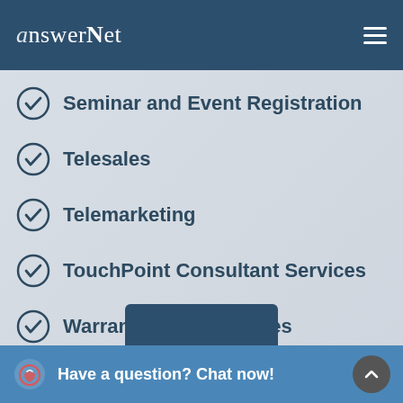answerNet
Seminar and Event Registration
Telesales
Telemarketing
TouchPoint Consultant Services
Warranty Program Sales
Have a question? Chat now!